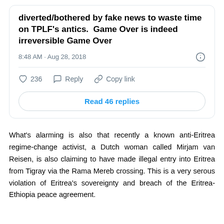[Figure (screenshot): Tweet card showing text: 'diverted/bothered by fake news to waste time on TPLF's antics. Game Over is indeed irreversible Game Over' posted at 8:48 AM · Aug 28, 2018, with 236 likes, Reply, Copy link actions, and a 'Read 46 replies' button.]
What's alarming is also that recently a known anti-Eritrea regime-change activist, a Dutch woman called Mirjam van Reisen, is also claiming to have made illegal entry into Eritrea from Tigray via the Rama Mereb crossing. This is a very serous violation of Eritrea's sovereignty and breach of the Eritrea-Ethiopia peace agreement.